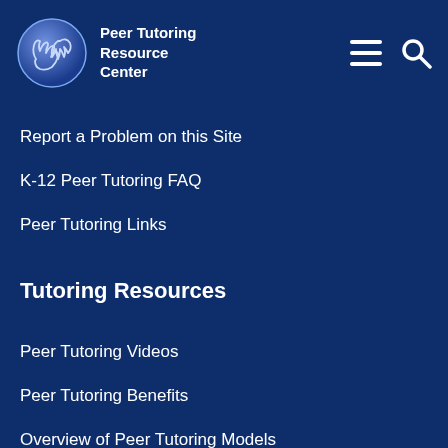[Figure (logo): Peer Tutoring Resource Center logo — blue circular globe with two hands]
Peer Tutoring Resource Center
Report a Problem on this Site
K-12 Peer Tutoring FAQ
Peer Tutoring Links
Tutoring Resources
Peer Tutoring Videos
Peer Tutoring Benefits
Overview of Peer Tutoring Models
Peer Tutoring Symposium